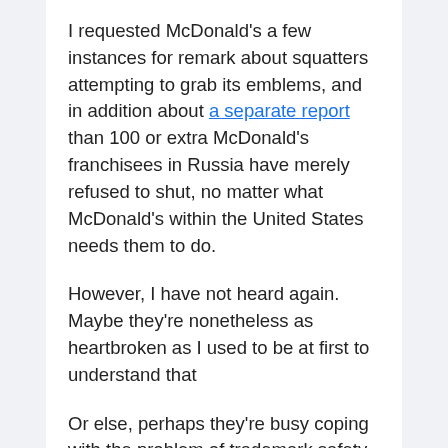I requested McDonald's a few instances for remark about squatters attempting to grab its emblems, and in addition about a separate report than 100 or extra McDonald's franchisees in Russia have merely refused to shut, no matter what McDonald's within the United States needs them to do.
However, I have not heard again. Maybe they're nonetheless as heartbroken as I used to be at first to understand that
Or else, perhaps they're busy coping with the problem of trademark safety. If your small business does enterprise abroad, it is in all probability one thing you will must do extra of, too.